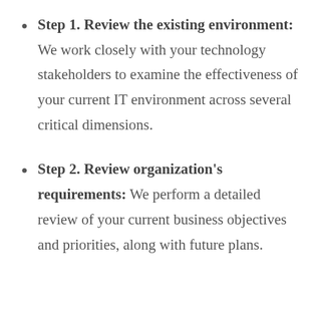Step 1. Review the existing environment: We work closely with your technology stakeholders to examine the effectiveness of your current IT environment across several critical dimensions.
Step 2. Review organization's requirements: We perform a detailed review of your current business objectives and priorities, along with future plans.